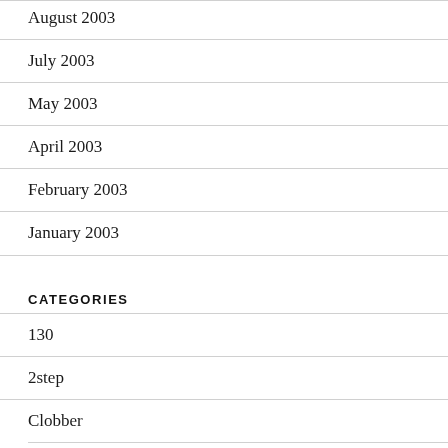August 2003
July 2003
May 2003
April 2003
February 2003
January 2003
CATEGORIES
130
2step
Clobber